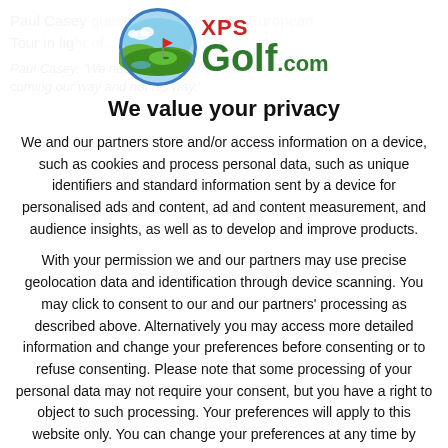Paul Casey questions answered by European Tour in lig... Paul Casey: 'We need...
[Figure (logo): XPS Golf.com logo with circular golf course icon and red XPS text above large green Golf.com text]
We value your privacy
We and our partners store and/or access information on a device, such as cookies and process personal data, such as unique identifiers and standard information sent by a device for personalised ads and content, ad and content measurement, and audience insights, as well as to develop and improve products.
With your permission we and our partners may use precise geolocation data and identification through device scanning. You may click to consent to our and our partners' processing as described above. Alternatively you may access more detailed information and change your preferences before consenting or to refuse consenting. Please note that some processing of your personal data may not require your consent, but you have a right to object to such processing. Your preferences will apply to this website only. You can change your preferences at any time by returning to this site or visit